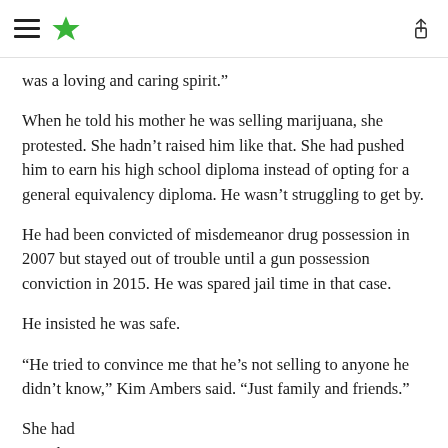[hamburger menu] [star logo] [share icon]
was a loving and caring spirit.”
When he told his mother he was selling marijuana, she protested. She hadn’t raised him like that. She had pushed him to earn his high school diploma instead of opting for a general equivalency diploma. He wasn’t struggling to get by.
He had been convicted of misdemeanor drug possession in 2007 but stayed out of trouble until a gun possession conviction in 2015. He was spared jail time in that case.
He insisted he was safe.
“He tried to convince me that he’s not selling to anyone he didn’t know,” Kim Ambers said. “Just family and friends.”
She had someho